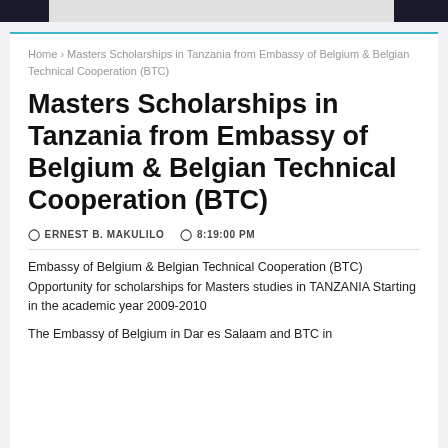Home › Masters Scholarships in Tanzania from Embassy of Belgium & Belgian Technical Cooperation (BTC)
Masters Scholarships in Tanzania from Embassy of Belgium & Belgian Technical Cooperation (BTC)
ERNEST B. MAKULILO   8:19:00 PM
Embassy of Belgium & Belgian Technical Cooperation (BTC)
Opportunity for scholarships for Masters studies in TANZANIA Starting in the academic year 2009-2010
The Embassy of Belgium in Dar es Salaam and BTC in